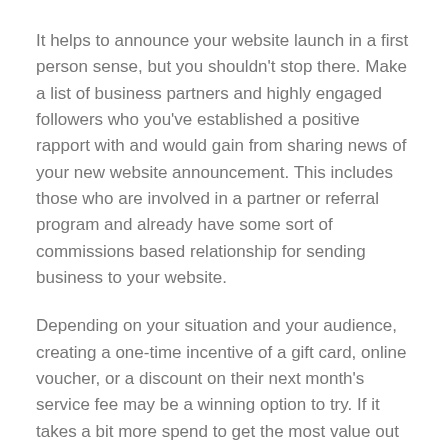It helps to announce your website launch in a first person sense, but you shouldn't stop there. Make a list of business partners and highly engaged followers who you've established a positive rapport with and would gain from sharing news of your new website announcement. This includes those who are involved in a partner or referral program and already have some sort of commissions based relationship for sending business to your website.
Depending on your situation and your audience, creating a one-time incentive of a gift card, online voucher, or a discount on their next month's service fee may be a winning option to try. If it takes a bit more spend to get the most value out of the new website launch, you'll ensure that the costs of your website are recovered more quickly.